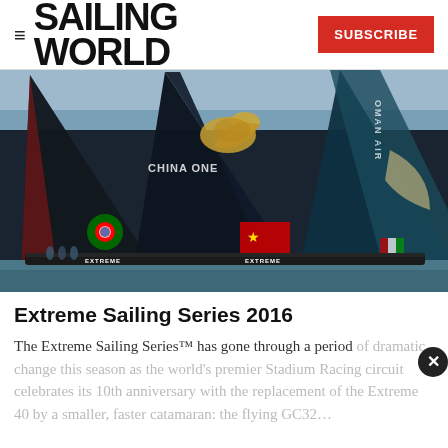≡ SAILING WORLD | SUBSCRIBE
[Figure (photo): Racing catamarans with large dark sails on the water. Visible sailboat branding includes 'CHINA ONE' with a dragon logo, Portuguese flag roundel, Chinese flag, and OMAN AIR sail. Text 'EXTREME' visible on hull.]
Extreme Sailing Series 2016
The Extreme Sailing Series™ has gone through a period of dramatic change this season as the world's premier Stadium Racing circuit celebrates its 10th anniversary with the replacement of the Extreme 40 by a smaller, faster catamaran: the flying GC32… [article continues]